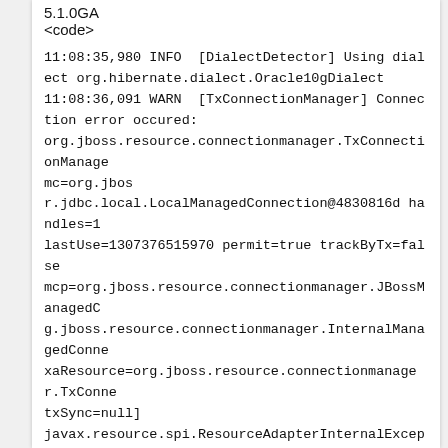5.1.0GA
<code>
11:08:35,980 INFO  [DialectDetector] Using dialect org.hibernate.dialect.Oracle10gDialect
11:08:36,091 WARN  [TxConnectionManager] Connection error occured:
org.jboss.resource.connectionmanager.TxConnectionManager mc=org.jbos
r.jdbc.local.LocalManagedConnection@4830816d handles=1 lastUse=1307376515970 permit=true trackByTx=false
mcp=org.jboss.resource.connectionmanager.JBossManagedC
g.jboss.resource.connectionmanager.InternalManagedConne
xaResource=org.jboss.resource.connectionmanager.TxConne
txSync=null]
javax.resource.spi.ResourceAdapterInternalException: Unexpected error
        at
org.jboss.resource.adapter.jdbc.BaseWrapperManagedConne
        at
org.jboss.resource.adapter.jdbc.BaseWrapperManagedConne
        at